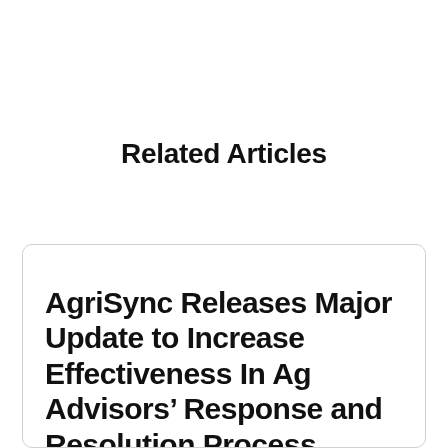Related Articles
AgriSync Releases Major Update to Increase Effectiveness In Ag Advisors’ Response and Resolution Process